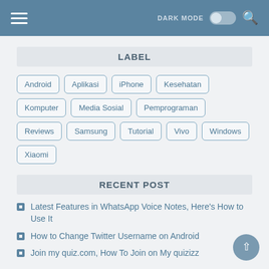DARK MODE [toggle] [search]
LABEL
Android
Aplikasi
iPhone
Kesehatan
Komputer
Media Sosial
Pemprograman
Reviews
Samsung
Tutorial
Vivo
Windows
Xiaomi
RECENT POST
Latest Features in WhatsApp Voice Notes, Here's How to Use It
How to Change Twitter Username on Android
Join my quiz.com, How To Join on My quizizz